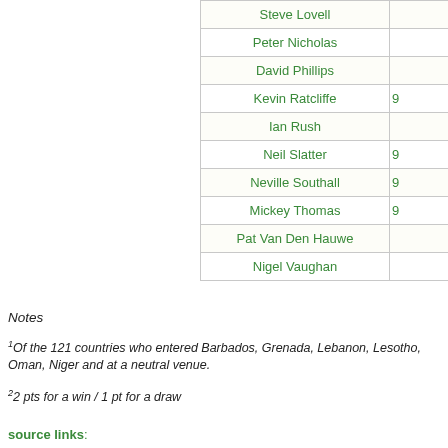| Player |  |
| --- | --- |
| Steve Lovell |  |
| Peter Nicholas |  |
| David Phillips |  |
| Kevin Ratcliffe | 9 |
| Ian Rush |  |
| Neil Slatter | 9 |
| Neville Southall | 9 |
| Mickey Thomas | 9 |
| Pat Van Den Hauwe |  |
| Nigel Vaughan |  |
Notes
1Of the 121 countries who entered Barbados, Grenada, Lebanon, Lesotho, Oman, Niger and... at a neutral venue.
2 2 pts for a win / 1 pt for a draw
source links:
RSSSSF - 1986 qualifiers
RSSSSF - 1986 world cup
Wikipedia - 1986 world cup
Fifa